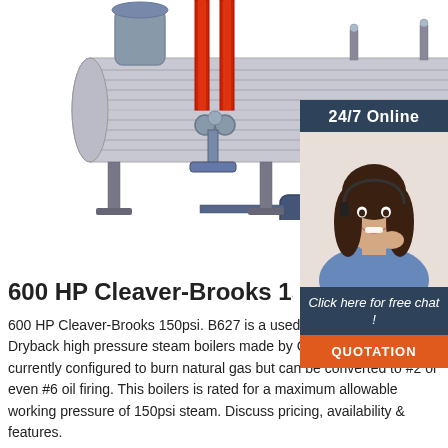[Figure (photo): Industrial boiler equipment photo showing a large horizontal steam boiler with red vertical pipes, blue separator tank on legs, and an orange/grey burner unit on the right. White background product photo.]
[Figure (photo): 24/7 Online customer support agent: a smiling woman with dark hair wearing a headset and blue shirt, shown in a dark blue sidebar panel with 'Click here for free chat!' text and an orange QUOTATION button below.]
600 HP Cleaver-Brooks 150p
600 HP Cleaver-Brooks 150psi. B627 is a used 600 HP 4-Pass Dryback high pressure steam boilers made by Cleaver-Brooks. It is currently configured to burn natural gas but can be converted to #2 or even #6 oil firing. This boilers is rated for a maximum allowable working pressure of 150psi steam. Discuss pricing, availability & features.